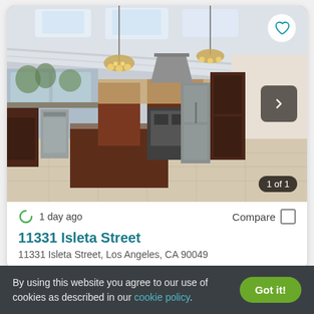[Figure (photo): Interior photo of a luxury kitchen with vaulted ceilings, skylights, chandeliers, dark wood cabinetry, large kitchen island with sink, stainless steel appliances, and light tile flooring. A heart/favorite button appears in the top right corner, a navigation arrow button on the right side, and a '1 of 1' photo count badge in the bottom right.]
1 day ago
Compare
11331 Isleta Street
11331 Isleta Street, Los Angeles, CA 90049
By using this website you agree to our use of cookies as described in our cookie policy.
Got it!